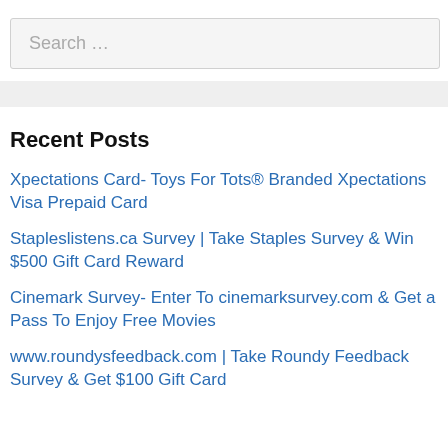Search …
Recent Posts
Xpectations Card- Toys For Tots® Branded Xpectations Visa Prepaid Card
Stapleslistens.ca Survey | Take Staples Survey & Win $500 Gift Card Reward
Cinemark Survey- Enter To cinemarksurvey.com & Get a Pass To Enjoy Free Movies
www.roundysfeedback.com | Take Roundy Feedback Survey & Get $100 Gift Card